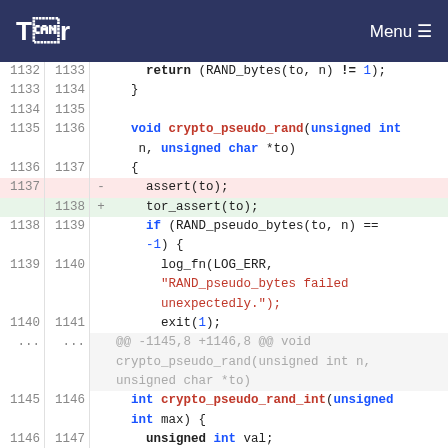Tor Menu
[Figure (screenshot): Code diff view showing changes to crypto_pseudo_rand function in Tor source code. Lines 1132-1147 shown with old/new line numbers, deletions highlighted in red and additions in green.]